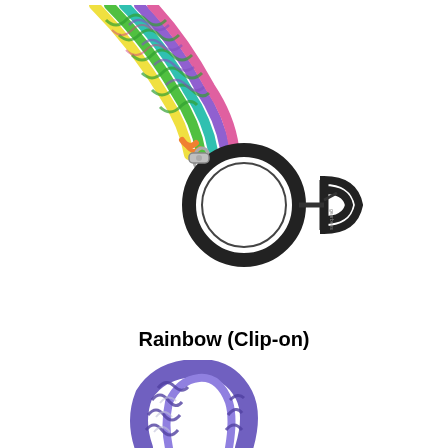[Figure (photo): Rainbow colored braided paracord strap with a black ring holder and black carabiner clip-on hardware, shown against white background]
Rainbow (Clip-on)
[Figure (photo): Purple braided paracord strap/loop against white background, partially visible at bottom of page]